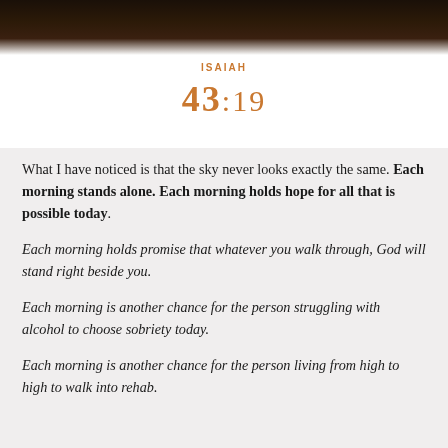[Figure (illustration): Dark brushstroke/painted header image with text overlay showing 'ISAIAH 43:19' in orange on white background]
What I have noticed is that the sky never looks exactly the same. Each morning stands alone. Each morning holds hope for all that is possible today.
Each morning holds promise that whatever you walk through, God will stand right beside you.
Each morning is another chance for the person struggling with alcohol to choose sobriety today.
Each morning is another chance for the person living from high to high to walk into rehab.